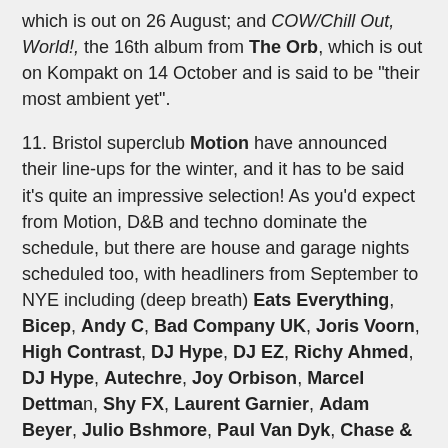which is out on 26 August; and COW/Chill Out, World!, the 16th album from The Orb, which is out on Kompakt on 14 October and is said to be "their most ambient yet".
11. Bristol superclub Motion have announced their line-ups for the winter, and it has to be said it's quite an impressive selection! As you'd expect from Motion, D&B and techno dominate the schedule, but there are house and garage nights scheduled too, with headliners from September to NYE including (deep breath) Eats Everything, Bicep, Andy C, Bad Company UK, Joris Voorn, High Contrast, DJ Hype, DJ EZ, Richy Ahmed, DJ Hype, Autechre, Joy Orbison, Marcel Dettman, Shy FX, Laurent Garnier, Adam Beyer, Julio Bshmore, Paul Van Dyk, Chase & Status and many more. For the full run-down, click here.
12. And finally... got about a thousand hours to kill? Then check out this excellent online Roland TR-808 emulator,